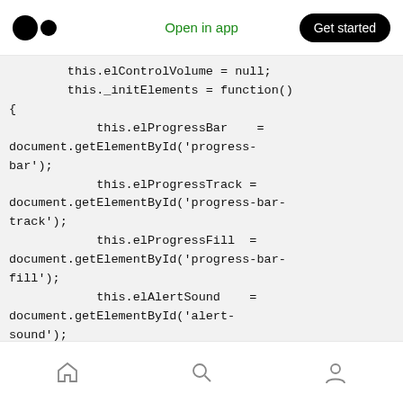Medium logo | Open in app | Get started
this.elControlVolume = null;
        this._initElements = function()
{
            this.elProgressBar    =
document.getElementById('progress-bar');
            this.elProgressTrack =
document.getElementById('progress-bar-track');
            this.elProgressFill  =
document.getElementById('progress-bar-fill');
            this.elAlertSound    =
document.getElementById('alert-sound');
            this.elVideo         =
document.getElementById('video-src');
            this.elVideoScreen   =
Home | Search | Profile